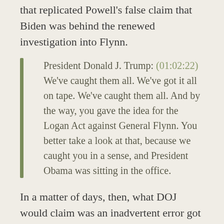that replicated Powell's false claim that Biden was behind the renewed investigation into Flynn.
President Donald J. Trump: (01:02:22) We've caught them all. We've got it all on tape. We've caught them all. And by the way, you gave the idea for the Logan Act against General Flynn. You better take a look at that, because we caught you in a sense, and President Obama was sitting in the office.
In a matter of days, then, what DOJ would claim was an inadvertent error got turned into a campaign attack from the President.
When DOJ first confessed to altering these notes,